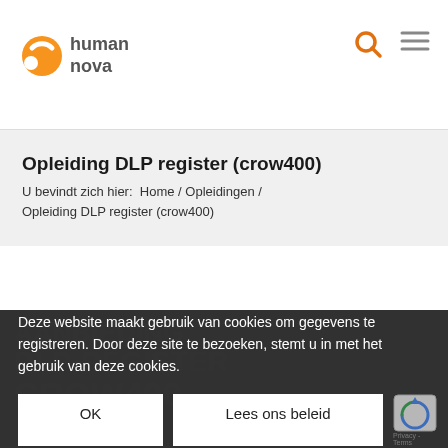[Figure (logo): Human Nova logo with orange circle/dot graphic and text 'human nova']
Opleiding DLP register (crow400) - Human Nova website header with search and menu icons
Opleiding DLP register (crow400)
U bevindt zich hier:  Home / Opleidingen / Opleiding DLP register (crow400)
Deze website maakt gebruik van cookies om gegevens te registreren. Door deze site te bezoeken, stemt u in met het gebruik van deze cookies.
OK   Lees ons beleid